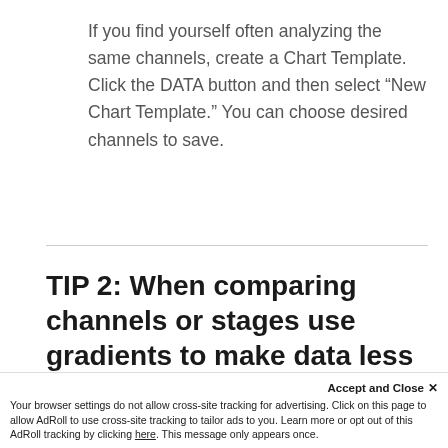If you find yourself often analyzing the same channels, create a Chart Template. Click the DATA button and then select “New Chart Template.” You can choose desired channels to save.
TIP 2: When comparing channels or stages use gradients to make data less overwhelming
Accept and Close × Your browser settings do not allow cross-site tracking for advertising. Click on this page to allow AdRoll to use cross-site tracking to tailor ads to you. Learn more or opt out of this AdRoll tracking by clicking here. This message only appears once.